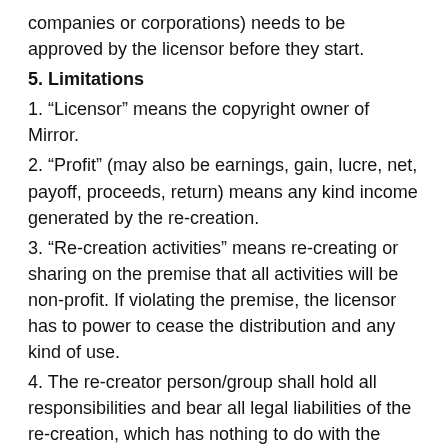companies or corporations) needs to be approved by the licensor before they start.
5. Limitations
1. “Licensor” means the copyright owner of Mirror.
2. “Profit” (may also be earnings, gain, lucre, net, payoff, proceeds, return) means any kind income generated by the re-creation.
3. “Re-creation activities” means re-creating or sharing on the premise that all activities will be non-profit. If violating the premise, the licensor has to power to cease the distribution and any kind of use.
4. The re-creator person/group shall hold all responsibilities and bear all legal liabilities of the re-creation, which has nothing to do with the licensor.
5. “USD $” means US dollars.
6. According to Tax Laws, the person receiving the reward shall bear all expense of taxation arising from the reward.
7. Final interpretation of this event belongs to the licensor.